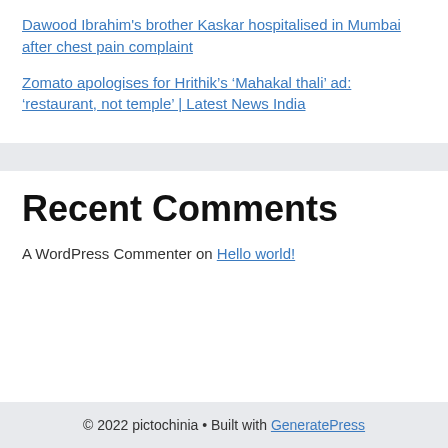Dawood Ibrahim's brother Kaskar hospitalised in Mumbai after chest pain complaint
Zomato apologises for Hrithik’s ‘Mahakal thali’ ad: ‘restaurant, not temple’ | Latest News India
Recent Comments
A WordPress Commenter on Hello world!
© 2022 pictochinia • Built with GeneratePress